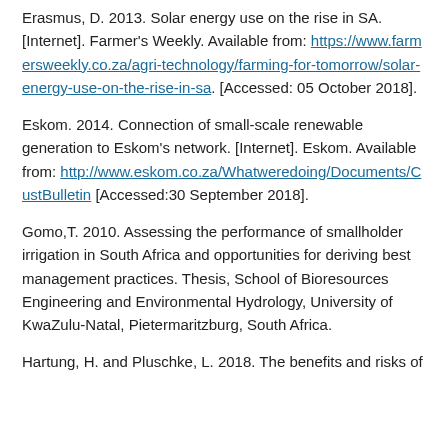Erasmus, D. 2013. Solar energy use on the rise in SA. [Internet]. Farmer's Weekly. Available from: https://www.farmersweekly.co.za/agri-technology/farming-for-tomorrow/solar-energy-use-on-the-rise-in-sa. [Accessed: 05 October 2018].
Eskom. 2014. Connection of small-scale renewable generation to Eskom's network. [Internet]. Eskom. Available from: http://www.eskom.co.za/Whatweredoing/Documents/CustBulletin [Accessed:30 September 2018].
Gomo,T. 2010. Assessing the performance of smallholder irrigation in South Africa and opportunities for deriving best management practices. Thesis, School of Bioresources Engineering and Environmental Hydrology, University of KwaZulu-Natal, Pietermaritzburg, South Africa.
Hartung, H. and Pluschke, L. 2018. The benefits and risks of...